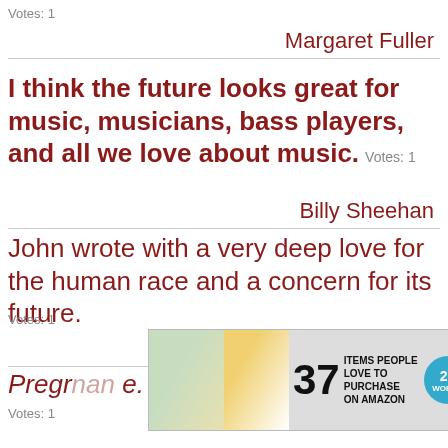Votes: 1
Margaret Fuller
I think the future looks great for music, musicians, bass players, and all we love about music. Votes: 1
Billy Sheehan
John wrote with a very deep love for the human race and a concern for its future.
Votes: 1
Yoko Ono
Pregnancy... It's about ...y.
Votes: 1
[Figure (screenshot): Advertisement banner: 37 Items People Love to Purchase on Amazon, with 22Words logo]